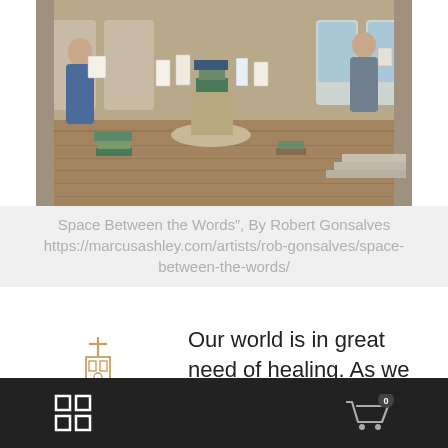[Figure (illustration): Surrealist painting showing a grand hall with books and people reading, with arches opening to a seascape, books stacked on shelves and pedestals, wooden floor, and two figures — one in blue dress on the left, one on the right near steps.]
Space Between the Words", By Robert Gonsalves https://marcusashley.com/artists/rob-gonsalves/space-between-the-words/
[Figure (illustration): Line drawing icon of a church/cathedral with a cross on top, tower, arched windows and doorways, drawn in a thin golden/tan outline style.]
Our world is in great need of healing. As we join Ignatius on this pilgrimage, which one of joy, celebration and
Grid icon and shopping cart icon with badge showing 0